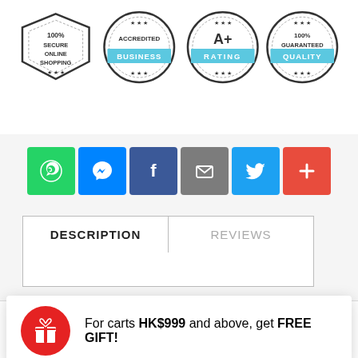[Figure (infographic): Four trust badge icons: '100% SECURE ONLINE SHOPPING' shield, 'ACCREDITED BUSINESS' stamp, 'A+ RATING' stamp, '100% GUARANTEED QUALITY' stamp]
[Figure (infographic): Social share buttons row: WhatsApp (green), Messenger (blue), Facebook (dark blue), Email (grey), Twitter (light blue), More/Plus (red-orange)]
[Figure (infographic): Tab interface with DESCRIPTION tab active and REVIEWS tab inactive]
For carts HK$999 and above, get FREE GIFT!
Catinin Plus Full Azione Seri 1 Pack
HK$252.00 HK$204.00
ADD TO CART